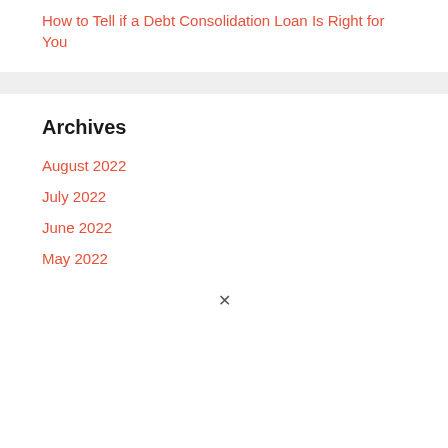How to Tell if a Debt Consolidation Loan Is Right for You
Archives
August 2022
July 2022
June 2022
May 2022